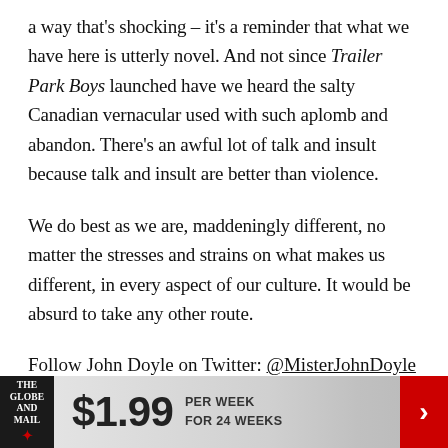a way that's shocking – it's a reminder that what we have here is utterly novel. And not since Trailer Park Boys launched have we heard the salty Canadian vernacular used with such aplomb and abandon. There's an awful lot of talk and insult because talk and insult are better than violence.
We do best as we are, maddeningly different, no matter the stresses and strains on what makes us different, in every aspect of our culture. It would be absurd to take any other route.
Follow John Doyle on Twitter: @MisterJohnDoyle
Report an error
[Figure (infographic): Globe and Mail subscription banner ad: $1.99 per week for 24 weeks, with Globe and Mail logo on left and red arrow/chevron on right]